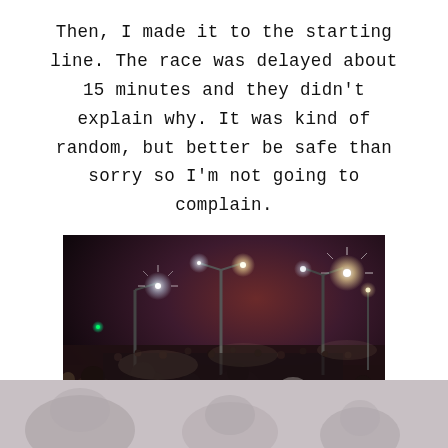Then, I made it to the starting line. The race was delayed about 15 minutes and they didn't explain why. It was kind of random, but better be safe than sorry so I'm not going to complain.
[Figure (photo): Nighttime outdoor crowd scene at a race starting line. Large group of runners gathered under street lights with reddish-orange sky in background. Bright light flares visible from street lamps.]